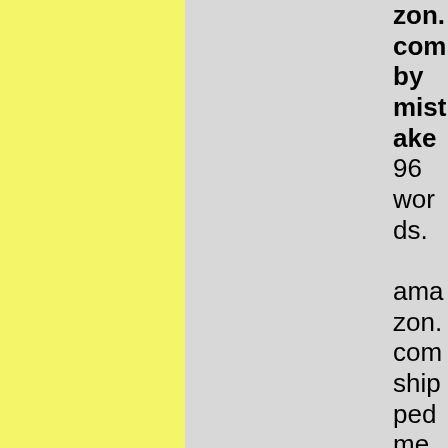zon.com by mistake 96 words.

amazon.com shipped me a pre-paid return envelope so